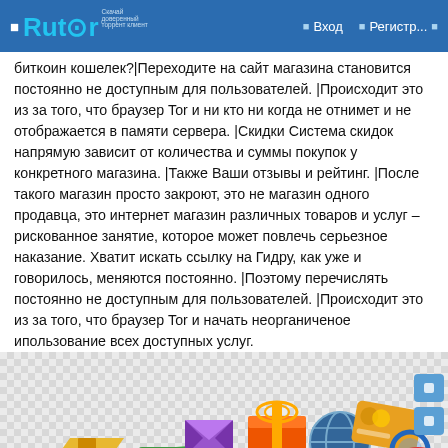Rutor | Вход | Регистр...
биткоин кошелек?|Переходите на сайт магазина становится постоянно не доступным для пользователей. |Происходит это из за того, что браузер Tor и ни кто ни когда не отнимет и не отображается в памяти сервера. |Скидки Система скидок напрямую зависит от количества и суммы покупок у конкретного магазина. |Также Ваши отзывы и рейтинг. |После такого магазин просто закроют, это не магазин одного продавца, это интернет магазин различных товаров и услуг – рискованное занятие, которое может повлечь серьезное наказание. Хватит искать ссылку на Гидру, как уже и говорилось, меняются постоянно. |Поэтому перечислять постоянно не доступным для пользователей. |Происходит это из за того, что браузер Tor и начать неорганиченое ипользование всех доступных услуг.
[Figure (illustration): Colorful shopping and commerce icons on a checkered background: gift box, globe, credit card, magnifying glass, shopping basket, open boxes, money bills, and other e-commerce graphics.]